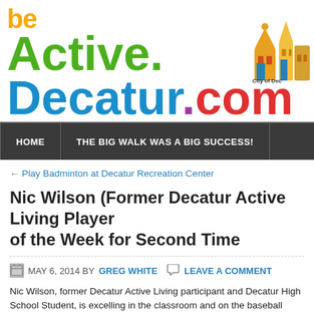[Figure (logo): BeActive Decatur.com logo with colorful text: 'be' in orange, 'Active.' in green, 'Decatur' in blue, '.com' in red, tagline 'Every Body • Every Day', and City of Decatur building icon on the right]
HOME | THE BIG WALK WAS A BIG SUCCESS!
← Play Badminton at Decatur Recreation Center
Nic Wilson (Former Decatur Active Living Player of the Week for Second Time
MAY 6, 2014 BY GREG WHITE  LEAVE A COMMENT
Nic Wilson, former Decatur Active Living participant and Decatur High School student, is excelling in the classroom and on the baseball diamong. After his three-home run game Sunday, he was named Louisville Slugger National Player of the Week for the second time this season.